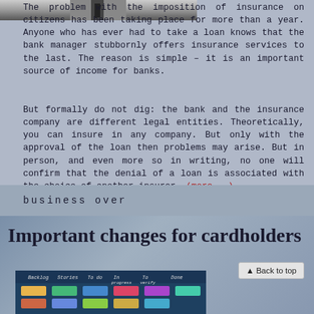[Figure (photo): Partial photo of a man in a suit and tie, cropped at top of page]
The problem with the imposition of insurance on citizens has been taking place for more than a year. Anyone who has ever had to take a loan knows that the bank manager stubbornly offers insurance services to the last. The reason is simple – it is an important source of income for banks.
But formally do not dig: the bank and the insurance company are different legal entities. Theoretically, you can insure in any company. But only with the approval of the loan then problems may arise. But in person, and even more so in writing, no one will confirm that the denial of a loan is associated with the choice of another insurer. (more...)
business over
Important changes for cardholders
[Figure (screenshot): Screenshot of a kanban-style task board with columns: Backlog, Stories, To do, In progress, To verify, Done — with colored sticky note cards under each column]